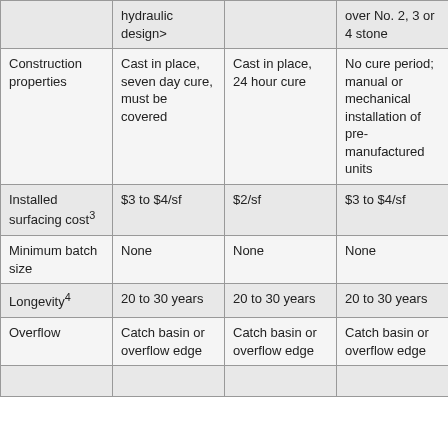|  | hydraulic design> |  | over No. 2, 3 or 4 stone |
| Construction properties | Cast in place, seven day cure, must be covered | Cast in place, 24 hour cure | No cure period; manual or mechanical installation of pre-manufactured units |
| Installed surfacing cost³ | $3 to $4/sf | $2/sf | $3 to $4/sf |
| Minimum batch size | None | None | None |
| Longevity⁴ | 20 to 30 years | 20 to 30 years | 20 to 30 years |
| Overflow | Catch basin or overflow edge | Catch basin or overflow edge | Catch basin or overflow edge |